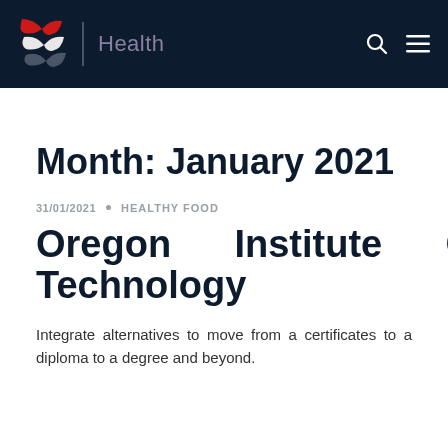Health
Month: January 2021
31/01/2021 • HEALTHY FOOD
Oregon Institute Of Technology
Integrate alternatives to move from a certificates to a diploma to a degree and beyond.